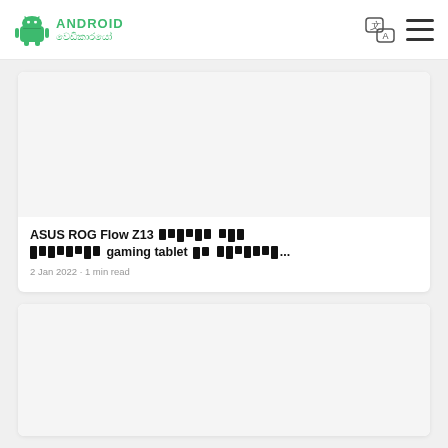ANDROID වෙඩිකාරයෝ
ASUS ROG Flow Z13 සිනහල ටෙක්ස්ට් ලබාගත්ත gaming tablet එක ලබාගනිමු...
2 Jan 2022 · 1 min read
[Figure (photo): Article card image placeholder (light gray)]